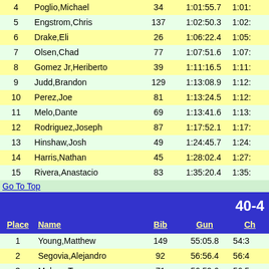| Place | Name | Bib | Gun | Ch |
| --- | --- | --- | --- | --- |
| 4 | Poglio,Michael | 34 | 1:01:55.7 | 1:01: |
| 5 | Engstrom,Chris | 137 | 1:02:50.3 | 1:02: |
| 6 | Drake,Eli | 26 | 1:06:22.4 | 1:05: |
| 7 | Olsen,Chad | 77 | 1:07:51.6 | 1:07: |
| 8 | Gomez Jr,Heriberto | 39 | 1:11:16.5 | 1:11: |
| 9 | Judd,Brandon | 129 | 1:13:08.9 | 1:12: |
| 10 | Perez,Joe | 81 | 1:13:24.5 | 1:12: |
| 11 | Melo,Dante | 69 | 1:13:41.6 | 1:13: |
| 12 | Rodriguez,Joseph | 87 | 1:17:52.1 | 1:17: |
| 13 | Hinshaw,Josh | 49 | 1:24:45.7 | 1:24: |
| 14 | Harris,Nathan | 45 | 1:28:02.4 | 1:27: |
| 15 | Rivera,Anastacio | 83 | 1:35:20.4 | 1:35: |
Go To Top
40-4
| Place | Name | Bib | Gun | Ch |
| --- | --- | --- | --- | --- |
| 1 | Young,Matthew | 149 | 55:05.8 | 54:3 |
| 2 | Segovia,Alejandro | 92 | 56:56.4 | 56:4 |
| 3 | Molano,Tony | 71 | 56:59.6 | 56:5 |
| 4 | Armstrong,Ronnie | 133 | 57:35.4 | 57:3 |
| 5 | Rocha,Jesus | 84 | 58:01.3 | 57:5 |
| 6 | Boline,Dennis | 9 | 1:00:17.2 | 59:5 |
| 7 | Wiederstein,Jason | 132 | 1:04:01.1 | 1:03: |
| 8 | James,Anthony | 127 | 1:04:57.0 | 1:04: |
| 9 | Trevino,Roy | 105 | 1:05:44.5 | 1:05: |
| 10 | Trudell,Charles | 106 | 1:08:29.4 | 1:08: |
| 11 | Hernandez,Jay | 120 | 1:10:09.8 | 1:09: |
| 12 | Schweers,Ryan | 119 | 1:16:59.3 | 1:16: |